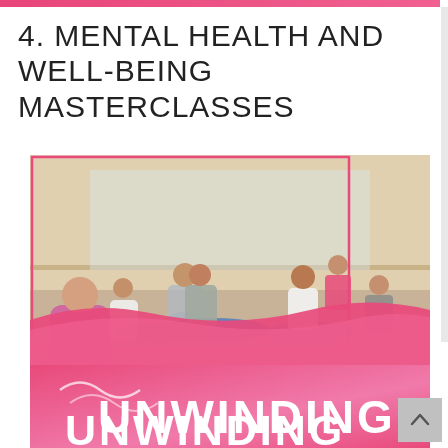4. MENTAL HEALTH AND WELL-BEING MASTERCLASSES
[Figure (photo): Group of women sitting on yoga mats in a studio practicing meditation, viewed from behind an instructor in the foreground. Pink decorative border overlay visible. Pink wave overlay at bottom of image.]
UNWINDING